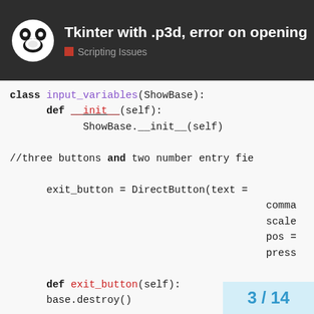Tkinter with .p3d, error on opening — Scripting Issues
class input_variables(ShowBase):
    def __init__(self):
        ShowBase.__init__(self)

//three buttons and two number entry fie

        exit_button = DirectButton(text =
                                            comma
                                            scale
                                            pos =
                                            press

        def exit_button(self):
        base.destroy()

//run
del input_variables

//more code
3 / 14